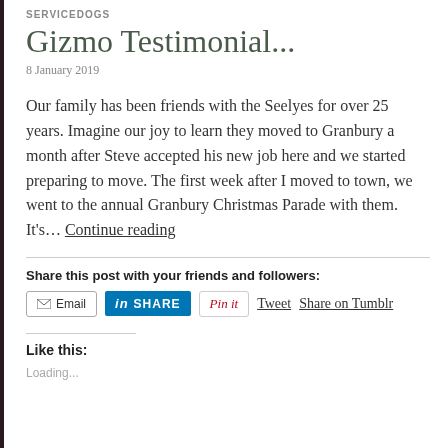SERVICEDOGS
Gizmo Testimonial...
8 January 2019
Our family has been friends with the Seelyes for over 25 years. Imagine our joy to learn they moved to Granbury a month after Steve accepted his new job here and we started preparing to move. The first week after I moved to town, we went to the annual Granbury Christmas Parade with them. It's… Continue reading
Share this post with your friends and followers:
Email  SHARE  Pin it  Tweet  Share on Tumblr
Like this:
Loading...